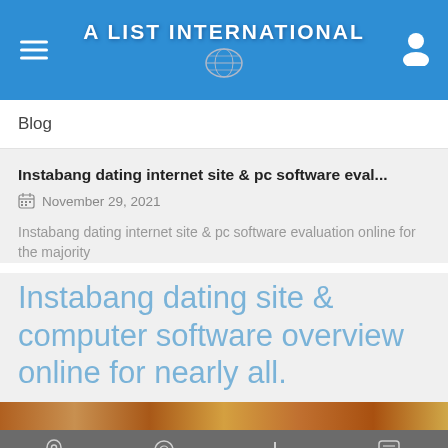A LIST INTERNATIONAL
Blog
Instabang dating internet site & pc software eval...
November 29, 2021
Instabang dating internet site & pc software evaluation online for the majority
Instabang dating site & computer software overview online for nearly all.
[Figure (photo): Partial image strip at bottom of article card]
Places  Nearby  Submit  Reviews